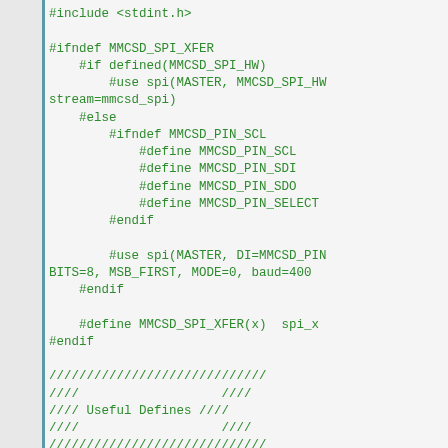[Figure (screenshot): Source code editor screenshot showing C preprocessor directives and enum definition for MMCSD (MultiMediaCard SD) driver. Code includes #include <stdint.h>, conditional compilation blocks for SPI transfer configuration, useful defines comment block, and enum MMCSD_err with error code values.]